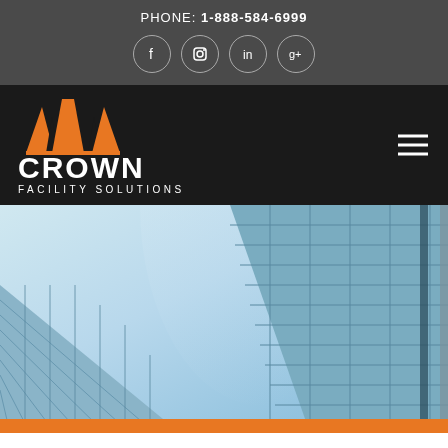PHONE: 1-888-584-6999
[Figure (logo): Crown Facility Solutions logo with orange crown icon and white text]
[Figure (photo): Upward angle photograph of modern glass office buildings with blue sky, architectural facade with grid windows]